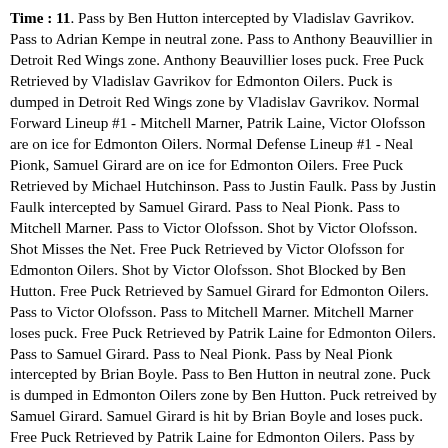Time : 11. Pass by Ben Hutton intercepted by Vladislav Gavrikov. Pass to Adrian Kempe in neutral zone. Pass to Anthony Beauvillier in Detroit Red Wings zone. Anthony Beauvillier loses puck. Free Puck Retrieved by Vladislav Gavrikov for Edmonton Oilers. Puck is dumped in Detroit Red Wings zone by Vladislav Gavrikov. Normal Forward Lineup #1 - Mitchell Marner, Patrik Laine, Victor Olofsson are on ice for Edmonton Oilers. Normal Defense Lineup #1 - Neal Pionk, Samuel Girard are on ice for Edmonton Oilers. Free Puck Retrieved by Michael Hutchinson. Pass to Justin Faulk. Pass by Justin Faulk intercepted by Samuel Girard. Pass to Neal Pionk. Pass to Mitchell Marner. Pass to Victor Olofsson. Shot by Victor Olofsson. Shot Misses the Net. Free Puck Retrieved by Victor Olofsson for Edmonton Oilers. Shot by Victor Olofsson. Shot Blocked by Ben Hutton. Free Puck Retrieved by Samuel Girard for Edmonton Oilers. Pass to Victor Olofsson. Pass to Mitchell Marner. Mitchell Marner loses puck. Free Puck Retrieved by Patrik Laine for Edmonton Oilers. Pass to Samuel Girard. Pass to Neal Pionk. Pass by Neal Pionk intercepted by Brian Boyle. Pass to Ben Hutton in neutral zone. Puck is dumped in Edmonton Oilers zone by Ben Hutton. Puck retreived by Samuel Girard. Samuel Girard is hit by Brian Boyle and loses puck. Free Puck Retrieved by Patrik Laine for Edmonton Oilers. Pass by Patrik Laine intercepted by Brian Boyle. Puck is dumped in Edmonton Oilers zone by Brian Boyle. Normal Forward Lineup #2 - Kyle Turris, Tyler Johnson, Dustin Brown are on ice for Detroit Red Wings.